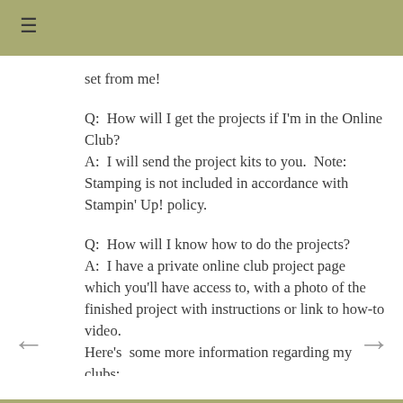☰
set from me!
Q:  How will I get the projects if I'm in the Online Club?
A:  I will send the project kits to you.  Note: Stamping is not included in accordance with Stampin' Up! policy.
Q:  How will I know how to do the projects?
A:  I have a private online club project page which you'll have access to, with a photo of the finished project with instructions or link to how-to video.
Here's  some more information regarding my clubs: